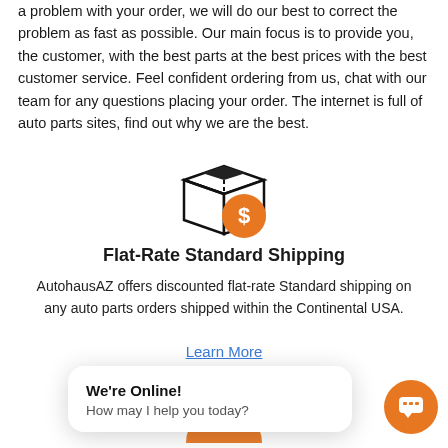a problem with your order, we will do our best to correct the problem as fast as possible. Our main focus is to provide you, the customer, with the best parts at the best prices with the best customer service. Feel confident ordering from us, chat with our team for any questions placing your order. The internet is full of auto parts sites, find out why we are the best.
[Figure (illustration): Icon of a cardboard box with an orange dollar sign circle badge]
Flat-Rate Standard Shipping
AutohausAZ offers discounted flat-rate Standard shipping on any auto parts orders shipped within the Continental USA.
Learn More
[Figure (illustration): Partial orange circular icon at bottom of page]
We're Online!
How may I help you today?